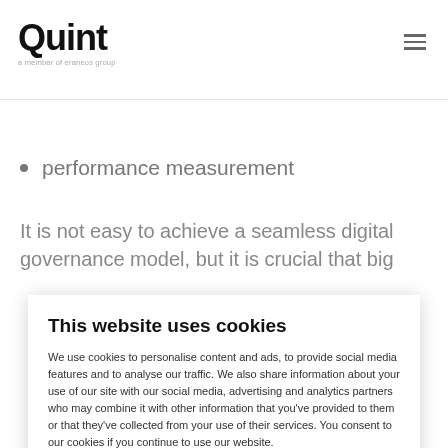Quint — a member of eraneos group
performance measurement
It is not easy to achieve a seamless digital governance model, but it is crucial that big
This website uses cookies
We use cookies to personalise content and ads, to provide social media features and to analyse our traffic. We also share information about your use of our site with our social media, advertising and analytics partners who may combine it with other information that you've provided to them or that they've collected from your use of their services. You consent to our cookies if you continue to use our website.
OK   Show details